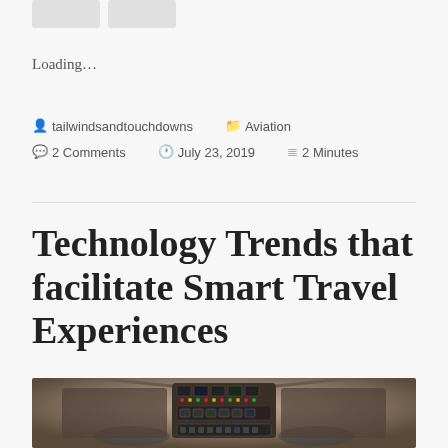[Figure (other): Two small button/widget placeholders at top left]
Loading…
tailwindsandtouchdowns   Aviation
💬 2 Comments   🕐 July 23, 2019   ≡ 2 Minutes
Technology Trends that facilitate Smart Travel Experiences
[Figure (photo): Photograph of an airplane cockpit with instrument panels and controls]